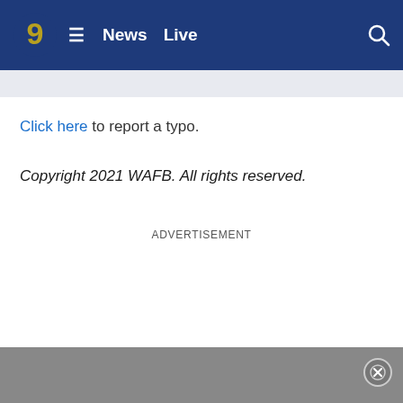WAFB 9 News Live
Click here to report a typo.
Copyright 2021 WAFB. All rights reserved.
ADVERTISEMENT